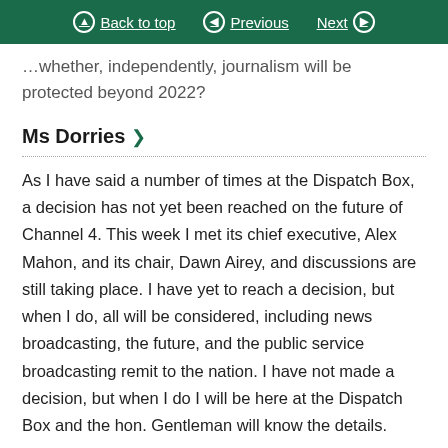Back to top | Previous | Next
…whether, independently, journalism will be protected beyond 2022?
Ms Dorries >
As I have said a number of times at the Dispatch Box, a decision has not yet been reached on the future of Channel 4. This week I met its chief executive, Alex Mahon, and its chair, Dawn Airey, and discussions are still taking place. I have yet to reach a decision, but when I do, all will be considered, including news broadcasting, the future, and the public service broadcasting remit to the nation. I have not made a decision, but when I do I will be here at the Dispatch Box and the hon. Gentleman will know the details.